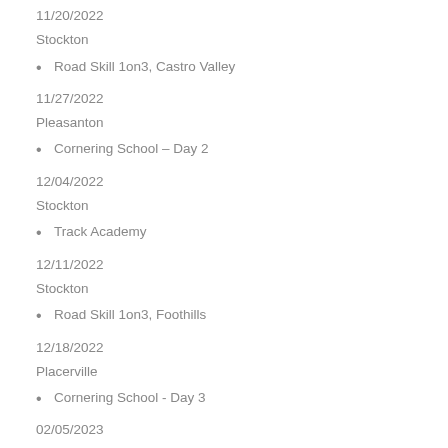11/20/2022
Stockton
Road Skill 1on3, Castro Valley
11/27/2022
Pleasanton
Cornering School – Day 2
12/04/2022
Stockton
Track Academy
12/11/2022
Stockton
Road Skill 1on3, Foothills
12/18/2022
Placerville
Cornering School - Day 3
02/05/2023
Stockton